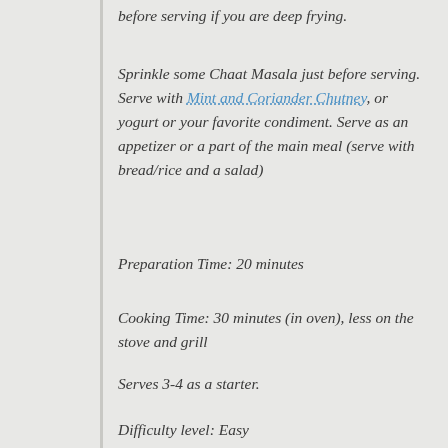before serving if you are deep frying.
Sprinkle some Chaat Masala just before serving. Serve with Mint and Coriander Chutney, or yogurt or your favorite condiment. Serve as an appetizer or a part of the main meal (serve with bread/rice and a salad)
Preparation Time: 20 minutes
Cooking Time: 30 minutes (in oven), less on the stove and grill
Serves 3-4 as a starter.
Difficulty level: Easy